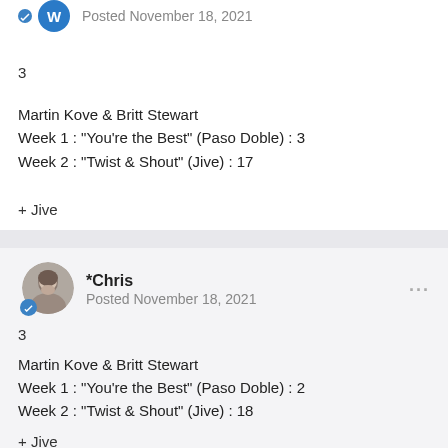Posted November 18, 2021
3
Martin Kove & Britt Stewart
Week 1 : "You're the Best" (Paso Doble) : 3
Week 2 : "Twist & Shout" (Jive) : 17
+ Jive
*Chris
Posted November 18, 2021
3
Martin Kove & Britt Stewart
Week 1 : "You're the Best" (Paso Doble) : 2
Week 2 : "Twist & Shout" (Jive) : 18
+ Jive